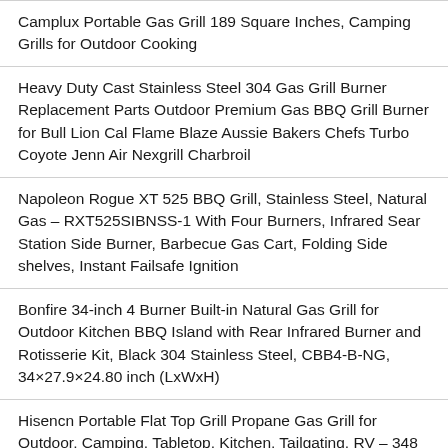Camplux Portable Gas Grill 189 Square Inches, Camping Grills for Outdoor Cooking
Heavy Duty Cast Stainless Steel 304 Gas Grill Burner Replacement Parts Outdoor Premium Gas BBQ Grill Burner for Bull Lion Cal Flame Blaze Aussie Bakers Chefs Turbo Coyote Jenn Air Nexgrill Charbroil
Napoleon Rogue XT 525 BBQ Grill, Stainless Steel, Natural Gas – RXT525SIBNSS-1 With Four Burners, Infrared Sear Station Side Burner, Barbecue Gas Cart, Folding Side shelves, Instant Failsafe Ignition
Bonfire 34-inch 4 Burner Built-in Natural Gas Grill for Outdoor Kitchen BBQ Island with Rear Infrared Burner and Rotisserie Kit, Black 304 Stainless Steel, CBB4-B-NG, 34×27.9×24.80 inch (LxWxH)
Hisencn Portable Flat Top Grill Propane Gas Grill for Outdoor, Camping, Tabletop, Kitchen, Tailgating, RV – 348 sq. in. Heavy Duty & 24000 BTUs Griddle for BBQ Grill, 22 Inch with Hood, with Carry Bag.